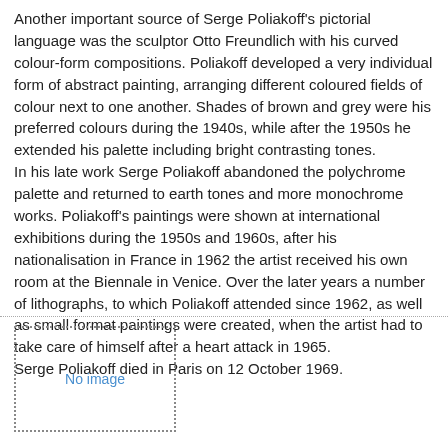Another important source of Serge Poliakoff's pictorial language was the sculptor Otto Freundlich with his curved colour-form compositions. Poliakoff developed a very individual form of abstract painting, arranging different coloured fields of colour next to one another. Shades of brown and grey were his preferred colours during the 1940s, while after the 1950s he extended his palette including bright contrasting tones.
In his late work Serge Poliakoff abandoned the polychrome palette and returned to earth tones and more monochrome works. Poliakoff's paintings were shown at international exhibitions during the 1950s and 1960s, after his nationalisation in France in 1962 the artist received his own room at the Biennale in Venice. Over the later years a number of lithographs, to which Poliakoff attended since 1962, as well as small format paintings were created, when the artist had to take care of himself after a heart attack in 1965.
Serge Poliakoff died in Paris on 12 October 1969.
[Figure (other): No image placeholder with dotted border]